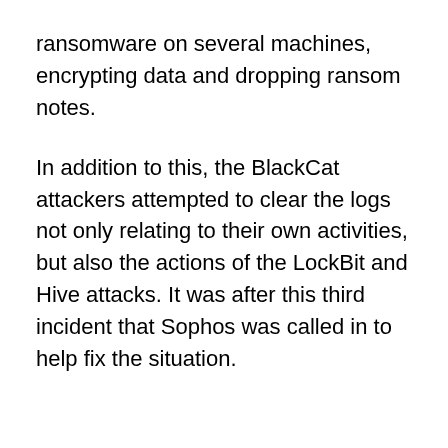ransomware on several machines, encrypting data and dropping ransom notes.
In addition to this, the BlackCat attackers attempted to clear the logs not only relating to their own activities, but also the actions of the LockBit and Hive attacks. It was after this third incident that Sophos was called in to help fix the situation.